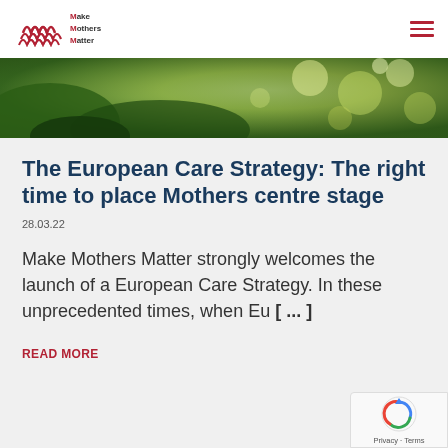Make Mothers Matter
[Figure (photo): Soft-focus green and yellow foliage background, landscape orientation hero banner]
The European Care Strategy: The right time to place Mothers centre stage
28.03.22
Make Mothers Matter strongly welcomes the launch of a European Care Strategy. In these unprecedented times, when Eu… [ … ]
READ MORE